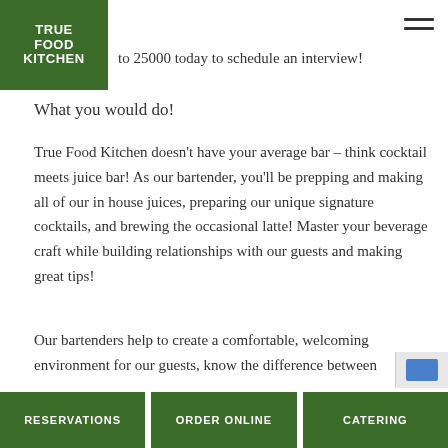[Figure (logo): True Food Kitchen logo — white bold text on dark green square background]
to 25000 today to schedule an interview!
What you would do!
True Food Kitchen doesn't have your average bar – think cocktail meets juice bar! As our bartender, you'll be prepping and making all of our in house juices, preparing our unique signature cocktails, and brewing the occasional latte! Master your beverage craft while building relationships with our guests and making great tips!
Our bartenders help to create a comfortable, welcoming environment for our guests, know the difference between
RESERVATIONS   ORDER ONLINE   CATERING